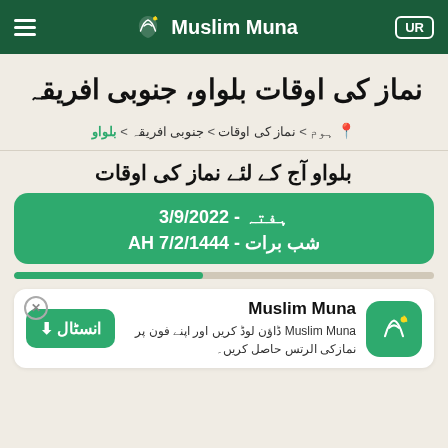Muslim Muna — UR
نماز کی اوقات بلواو، جنوبی افریقہ
🏠 > نماز کی اوقات > جنوبی افریقہ > بلواو
بلواو آج کے لئے نماز کی اوقات
ہفتہ - 3/9/2022
شب برات - 7/2/1444 AH
Muslim Muna — Muslim Muna ڈاؤن لوڈ کریں اور اپنے فون پر نمازکی الرتس حاصل کریں۔